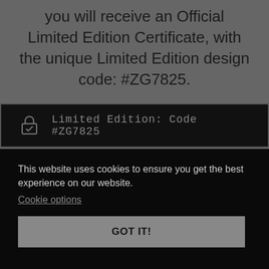you will receive an Official Limited Edition Certificate, with the unique Limited Edition design code: #ZG7825.
[Figure (other): Black badge with lock icon and text: Limited Edition: Code #ZG7825]
This website uses cookies to ensure you get the best experience on our website.
Cookie options
GOT IT!